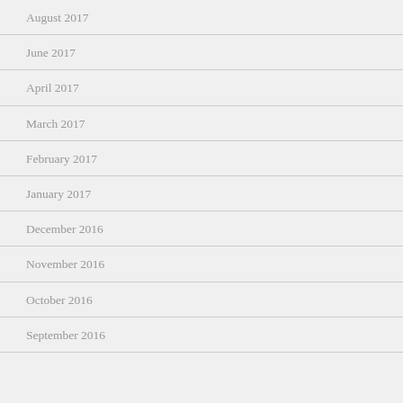August 2017
June 2017
April 2017
March 2017
February 2017
January 2017
December 2016
November 2016
October 2016
September 2016